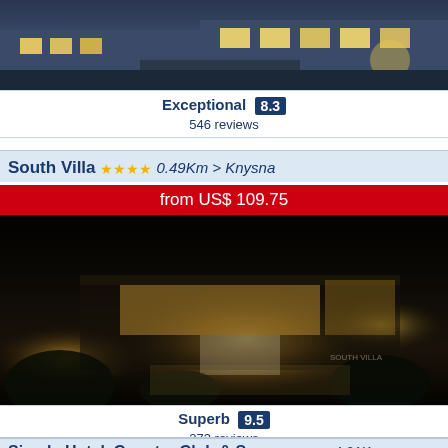[Figure (photo): Top portion of a building at night/dusk, blue tones]
Exceptional 8.3
546 reviews
South Villa ★★★★ 0.49Km > Knysna
from US$ 109.75
[Figure (photo): South Villa hotel at night, lit building facade]
Superb 9.5
273 reviews
Simola Hotel, Country Club & Spa ★★★★★ 4.21Km > Knysna